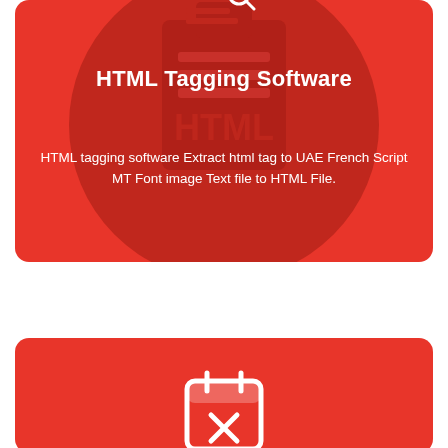[Figure (illustration): Red rounded card with dark red circular background showing an HTML tagging software icon at the top, with white bold title 'HTML Tagging Software' and descriptive text below]
HTML Tagging Software
HTML tagging software Extract html tag to UAE French Script MT Font image Text file to HTML File.
[Figure (illustration): Second red rounded card at the bottom showing a calendar icon with an X mark, partially visible]